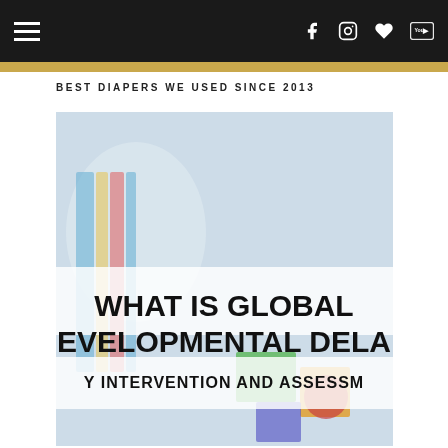Navigation bar with hamburger menu and social icons (Facebook, Instagram, Heart/Bloglovin, YouTube)
BEST DIAPERS WE USED SINCE 2013
[Figure (photo): Child playing with colorful building blocks, with overlaid text reading 'WHAT IS GLOBAL DEVELOPMENTAL DELAY' and 'Y INTERVENTION AND ASSESSMENT']